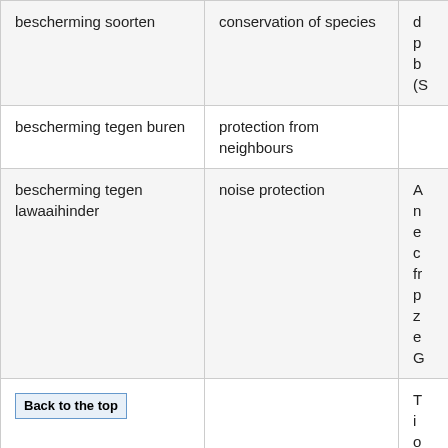| bescherming soorten | conservation of species | d
p
b
(S |
| bescherming tegen buren | protection from neighbours |  |
| bescherming tegen lawaaihinder | noise protection | A
n
e
c
fr
p
z
e
G |
| [Back to the top] |  | T
i
o
c |